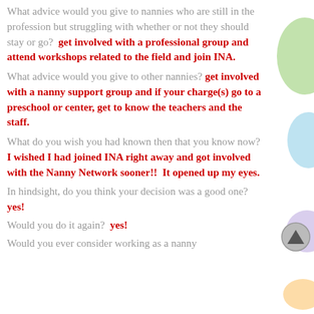What advice would you give to nannies who are still in the profession but struggling with whether or not they should stay or go?  get involved with a professional group and attend workshops related to the field and join INA.
What advice would you give to other nannies?  get involved with a nanny support group and if your charge(s) go to a preschool or center, get to know the teachers and the staff.
What do you wish you had known then that you know now?  I wished I had joined INA right away and got involved with the Nanny Network sooner!!  It opened up my eyes.
In hindsight, do you think your decision was a good one?  yes!
Would you do it again?  yes!
Would you ever consider working as a nanny